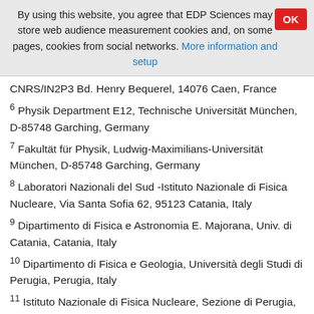By using this website, you agree that EDP Sciences may store web audience measurement cookies and, on some pages, cookies from social networks. More information and setup
CNRS/IN2P3 Bd. Henry Bequerel, 14076 Caen, France
6 Physik Department E12, Technische Universität München, D-85748 Garching, Germany
7 Fakultät für Physik, Ludwig-Maximilians-Universität München, D-85748 Garching, Germany
8 Laboratori Nazionali del Sud -Istituto Nazionale di Fisica Nucleare, Via Santa Sofia 62, 95123 Catania, Italy
9 Dipartimento di Fisica e Astronomia E. Majorana, Univ. di Catania, Catania, Italy
10 Dipartimento di Fisica e Geologia, Università degli Studi di Perugia, Perugia, Italy
11 Istituto Nazionale di Fisica Nucleare, Sezione di Perugia, Perugia, Italy